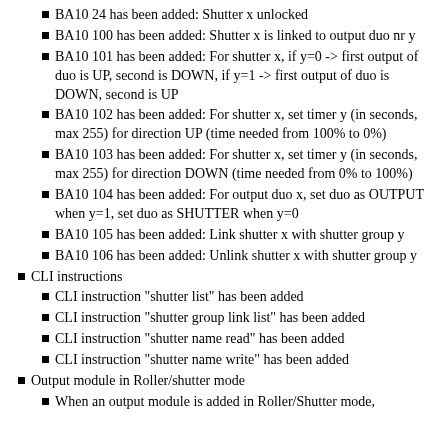BA10 24 has been added: Shutter x unlocked
BA10 100 has been added: Shutter x is linked to output duo nr y
BA10 101 has been added: For shutter x, if y=0 -> first output of duo is UP, second is DOWN, if y=1 -> first output of duo is DOWN, second is UP
BA10 102 has been added: For shutter x, set timer y (in seconds, max 255) for direction UP (time needed from 100% to 0%)
BA10 103 has been added: For shutter x, set timer y (in seconds, max 255) for direction DOWN (time needed from 0% to 100%)
BA10 104 has been added: For output duo x, set duo as OUTPUT when y=1, set duo as SHUTTER when y=0
BA10 105 has been added: Link shutter x with shutter group y
BA10 106 has been added: Unlink shutter x with shutter group y
CLI instructions
CLI instruction "shutter list" has been added
CLI instruction "shutter group link list" has been added
CLI instruction "shutter name read" has been added
CLI instruction "shutter name write" has been added
Output module in Roller/shutter mode
When an output module is added in Roller/Shutter mode,